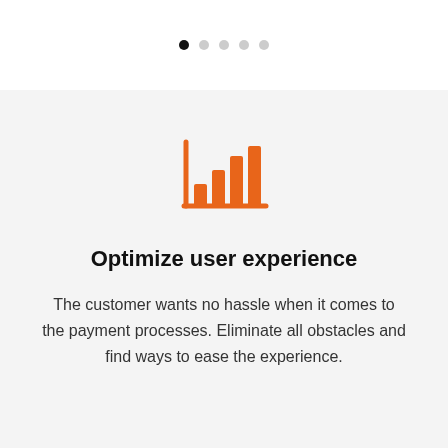[Figure (infographic): Five pagination dots in a row; the first dot is filled black and the remaining four are light grey, indicating the first of five slides is active.]
[Figure (illustration): Orange bar chart icon on a light grey background, showing four vertical bars of increasing height with an L-shaped axis frame.]
Optimize user experience
The customer wants no hassle when it comes to the payment processes. Eliminate all obstacles and find ways to ease the experience.